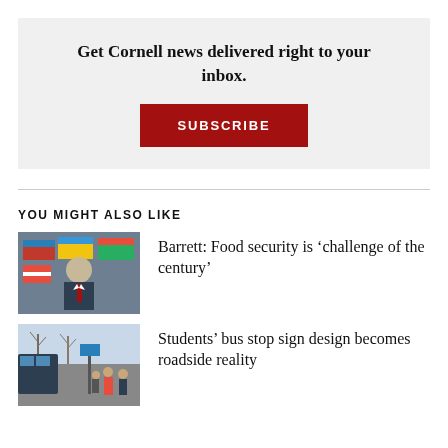Get Cornell news delivered right to your inbox.
SUBSCRIBE
YOU MIGHT ALSO LIKE
[Figure (photo): Man in suit standing in front of international flags]
Barrett: Food security is ‘challenge of the century’
[Figure (photo): People standing near a bus stop in winter]
Students’ bus stop sign design becomes roadside reality